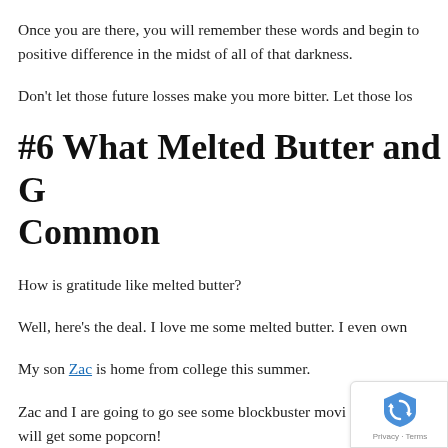Once you are there, you will remember these words and begin to make a positive difference in the midst of all of that darkness.
Don’t let those future losses make you more bitter. Let those los…
#6 What Melted Butter and G… Common
How is gratitude like melted butter?
Well, here’s the deal. I love me some melted butter. I even own…
My son Zac is home from college this summer.
Zac and I are going to go see some blockbuster movi… will get some popcorn!